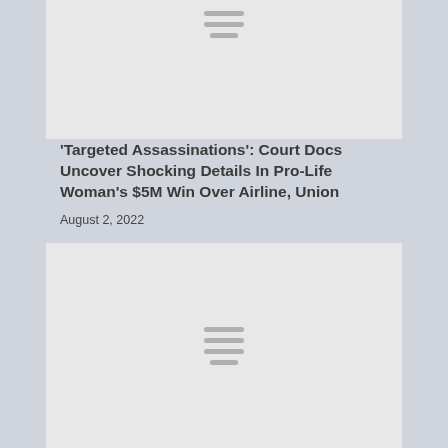[Figure (other): Gray placeholder image with hamburger menu lines at top]
'Targeted Assassinations': Court Docs Uncover Shocking Details In Pro-Life Woman's $5M Win Over Airline, Union
August 2, 2022
[Figure (other): Gray placeholder image with hamburger menu lines in center]